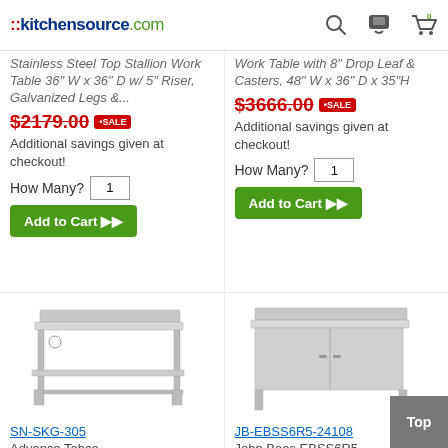::kitchensource.com
Stainless Steel Top Stallion Work Table 36" W x 36" D w/ 5" Riser, Galvanized Legs &...
$2179.00 SALE Additional savings given at checkout!
How Many? 1
Add to Cart ▶▶
Work Table with 8" Drop Leaf & Casters, 48" W x 36" D x 35"H
$3666.00 SALE Additional savings given at checkout!
How Many? 1
Add to Cart ▶▶
[Figure (photo): Stainless steel work table with backsplash and undershelf, SN-SKG-305]
SN-SKG-305
Advance Tabco
[Figure (photo): Stainless steel enclosed work table with sliding doors and backsplash, JB-EBSS6R5-24108]
JB-EBSS6R5-24108
John Boos EBSS6R5